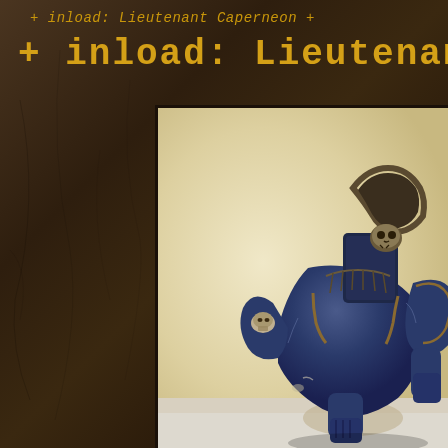+ inload: Lieutenant Caperneon +
+ inload: Lieutenant Caper
[Figure (photo): Close-up photo of a painted Warhammer 40K Space Marine miniature (Lieutenant Caperneon) showing dark blue power armor with bronze/gold trim, skull iconography on the backpack, against a pale cream/beige background. The miniature is photographed from the front-right angle showing upper torso.]